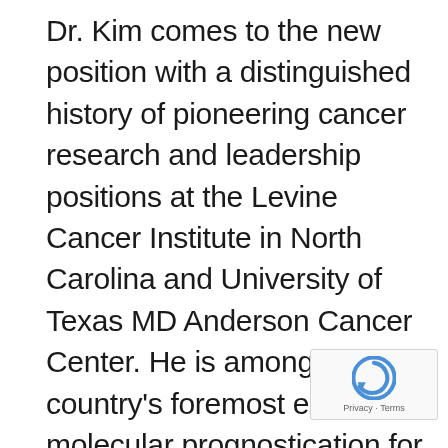Dr. Kim comes to the new position with a distinguished history of pioneering cancer research and leadership positions at the Levine Cancer Institute in North Carolina and University of Texas MD Anderson Cancer Center. He is among the country's foremost experts in molecular prognostication for lung, head and neck cancers, which greatly advances cancer detection and personalized therapies. As part of his lifelong commitment to ongoing oncology research, Dr. Kim is also the principal and co-principal investigator
[Figure (other): reCAPTCHA badge overlay in the bottom-right corner showing the reCAPTCHA logo and 'Privacy - Terms' text]